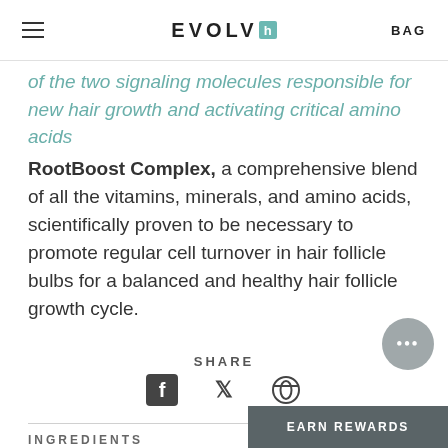EVOLVh | BAG
of the two signaling molecules responsible for new hair growth and activating critical amino acids
RootBoost Complex, a comprehensive blend of all the vitamins, minerals, and amino acids, scientifically proven to be necessary to promote regular cell turnover in hair follicle bulbs for a balanced and healthy hair follicle growth cycle.
SHARE
[Figure (other): Social share icons: Facebook, Twitter, Pinterest]
INGREDIENTS